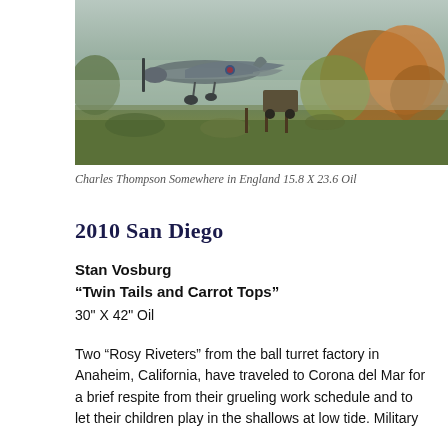[Figure (illustration): Painting of a WWII-era military aircraft (Spitfire or similar) on a field with autumn foliage in the background, painted in oil.]
Charles Thompson Somewhere in England 15.8 X 23.6 Oil
2010 San Diego
Stan Vosburg
“Twin Tails and Carrot Tops”
30” X 42” Oil
Two “Rosy Riveters” from the ball turret factory in Anaheim, California, have traveled to Corona del Mar for a brief respite from their grueling work schedule and to let their children play in the shallows at low tide. Military